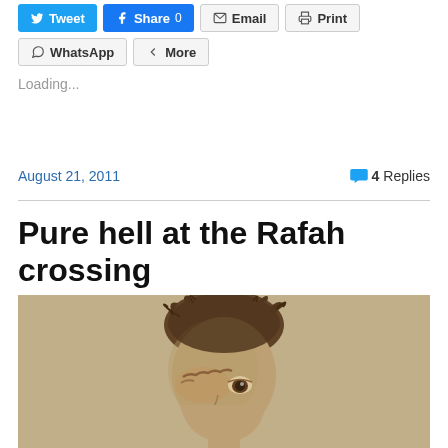Tweet  Share 0  Email  Print  WhatsApp  More
Loading...
August 21, 2011   4 Replies
Pure hell at the Rafah crossing
[Figure (photo): Sepia-toned photograph of a young child rubbing their eye with their hand, with disheveled hair, looking upward.]